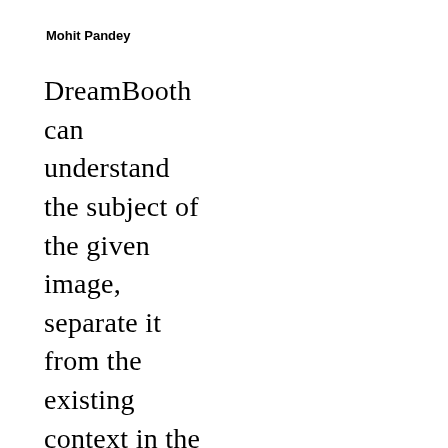Mohit Pandey
DreamBooth can understand the subject of the given image, separate it from the existing context in the image, and then synthesise it into a new desired